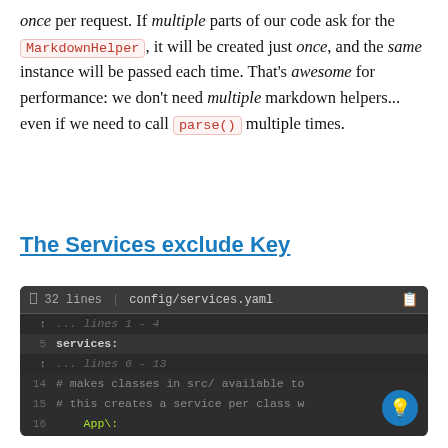once per request. If multiple parts of our code ask for the MarkdownHelper, it will be created just once, and the same instance will be passed each time. That's awesome for performance: we don't need multiple markdown helpers... even if we need to call parse() multiple times.
The Services exclude Key
[Figure (screenshot): Code editor screenshot showing config/services.yaml with 32 lines. Visible lines: collapsed lines 1-4, line 5 'services:', collapsed lines 6-13, line 14 '# makes classes in src/ available to', line 15 '# this creates a service per class w', line 16 'App\:', collapsed line 17, line 18 "exclude: '../src/{Entity,Migrat", collapsed lines 19-32.]